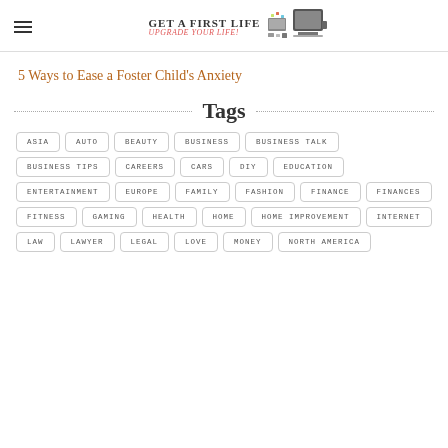Get A First Life - upgrade your life!
5 Ways to Ease a Foster Child's Anxiety
Tags
ASIA
AUTO
BEAUTY
BUSINESS
BUSINESS TALK
BUSINESS TIPS
CAREERS
CARS
DIY
EDUCATION
ENTERTAINMENT
EUROPE
FAMILY
FASHION
FINANCE
FINANCES
FITNESS
GAMING
HEALTH
HOME
HOME IMPROVEMENT
INTERNET
LAW
LAWYER
LEGAL
LOVE
MONEY
NORTH AMERICA